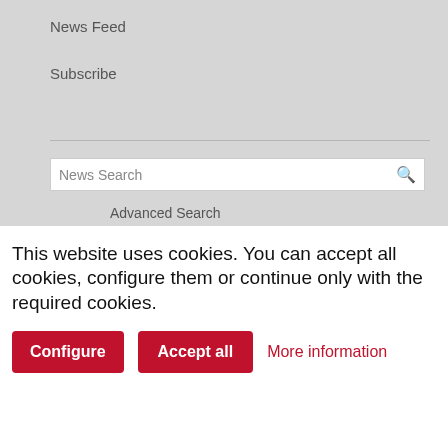News Feed
Subscribe
News Search
Advanced Search
Features
Analysis
Videos
Reports
[Figure (photo): Photo of Swiss watches with colorful items]
Swiss Watc…
Switzerland's … March, benefi…
News | Apr 26
[Figure (photo): Photo of a man in a suit, Sotheby's related]
Sotheby's N…
Sotheby's has … division — the…
News | Jan 16
[Figure (photo): Partial photo for World Make article]
World Make…
This website uses cookies. You can accept all cookies, configure them or continue only with the required cookies.